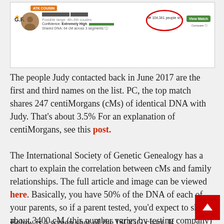[Figure (screenshot): AncestryDNA match screenshot showing G.F. profile with ATK Cousin badge, profile photo, match details including confidence: Extremely High, Shared DNA: 64 cM across 3 segments, and a circled count showing 104,361 people with View Match button]
The people Judy contacted back in June 2017 are the first and third names on the list. PC, the top match shares 247 centiMorgans (cMs) of identical DNA with Judy. That's about 3.5% For an explanation of centiMorgans, see this post.
The International Society of Genetic Genealogy has a chart to explain the correlation between cMs and family relationships. The full article and image can be viewed here. Basically, you have 50% of the DNA of each of your parents, so if a parent tested, you'd expect to share about 3400 cM (this number varies by testing company)
Below is a screen shot of the ISOGG chart. If...